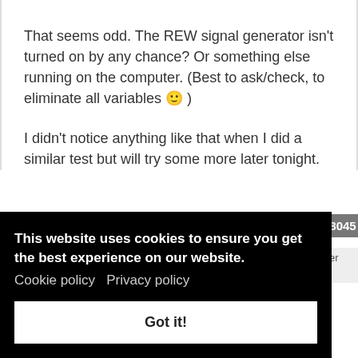That seems odd. The REW signal generator isn't turned on by any chance? Or something else running on the computer. (Best to ask/check, to eliminate all variables 🙂 )
I didn't notice anything like that when I did a similar test but will try some more later tonight.
This website uses cookies to ensure you get the best experience on our website.
Cookie policy   Privacy policy

Got it!
#8045
mber
: 0